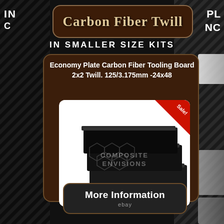Carbon Fiber Twill
IN SMALLER SIZE KITS
Economy Plate Carbon Fiber Tooling Board 2x2 Twill. 125/3.175mm -24x48
[Figure (photo): Stack of black carbon fiber tooling board sheets with Composite Envisions watermark and Sale! badge in corner, ebay listing image]
More Information
ebay